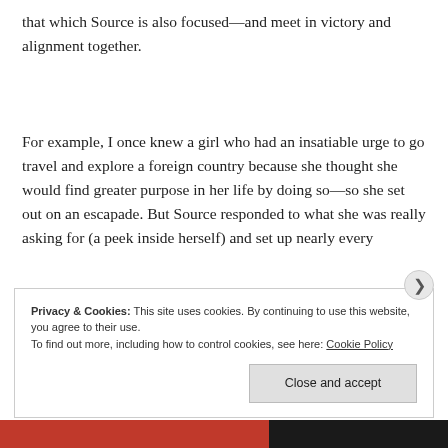that which Source is also focused—and meet in victory and alignment together.
For example, I once knew a girl who had an insatiable urge to go travel and explore a foreign country because she thought she would find greater purpose in her life by doing so—so she set out on an escapade. But Source responded to what she was really asking for (a peek inside herself) and set up nearly every
Privacy & Cookies: This site uses cookies. By continuing to use this website, you agree to their use.
To find out more, including how to control cookies, see here: Cookie Policy
Close and accept